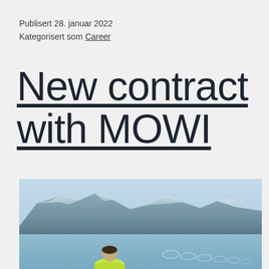Publisert 28. januar 2022
Kategorisert som Career
New contract with MOWI
[Figure (photo): A person in a neon yellow/green jacket viewed from behind, sitting or standing near a fjord with snow-capped mountains in the background. Fish farm circular pens are visible in the water extending to the right.]